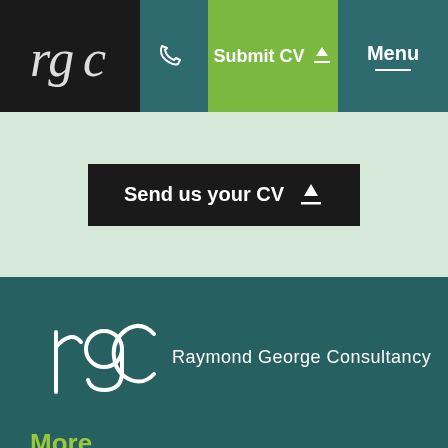[Figure (logo): RGC logo in white on dark background (navigation bar)]
[Figure (logo): Phone icon in navigation bar]
Submit CV ↑
Menu
Send us your CV ↑
[Figure (logo): RGC logo large white on teal background with company name Raymond George Consultancy]
More
About
Blog
Referral Scheme
Contact Us